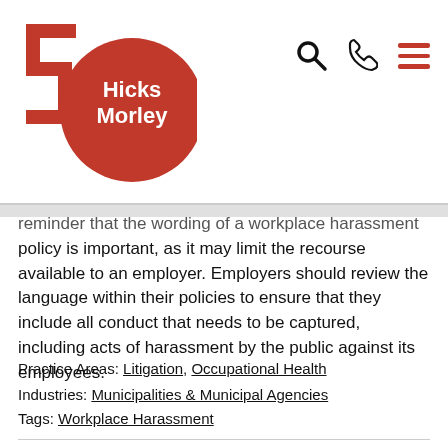[Figure (logo): Hicks Morley 50th anniversary logo — a red numeral 5 with a red circle containing white text 'Hicks Morley']
reminder that the wording of a workplace harassment policy is important, as it may limit the recourse available to an employer. Employers should review the language within their policies to ensure that they include all conduct that needs to be captured, including acts of harassment by the public against its employees.
Practice Areas: Litigation, Occupational Health
Industries: Municipalities & Municipal Agencies
Tags: Workplace Harassment